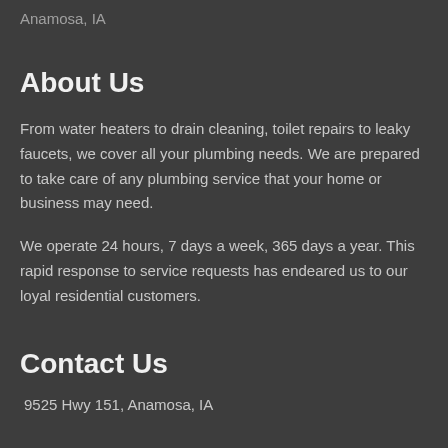Anamosa, IA
About Us
From water heaters to drain cleaning, toilet repairs to leaky faucets, we cover all your plumbing needs. We are prepared to take care of any plumbing service that your home or business may need.
We operate 24 hours, 7 days a week, 365 days a year. This rapid response to service requests has endeared us to our loyal residential customers.
Contact Us
9525 Hwy 151, Anamosa, IA